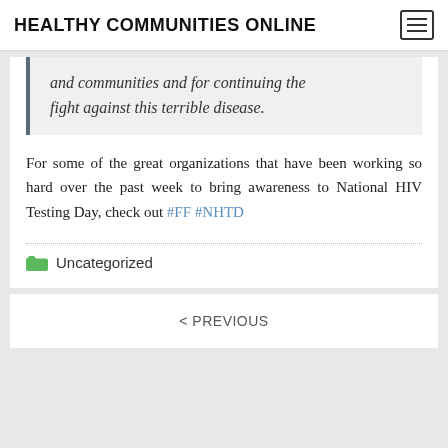HEALTHY COMMUNITIES ONLINE
and communities and for continuing the fight against this terrible disease.
For some of the great organizations that have been working so hard over the past week to bring awareness to National HIV Testing Day, check out #FF #NHTD
Uncategorized
< PREVIOUS